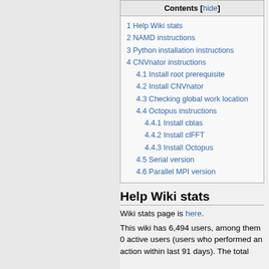| Contents [hide] |
| --- |
| 1 Help Wiki stats |
| 2 NAMD instructions |
| 3 Python installation instructions |
| 4 CNVnator instructions |
| 4.1 Install root prerequisite |
| 4.2 Install CNVnator |
| 4.3 Checking global work location |
| 4.4 Octopus instructions |
| 4.4.1 Install cblas |
| 4.4.2 Install clFFT |
| 4.4.3 Install Octopus |
| 4.5 Serial version |
| 4.6 Parallel MPI version |
Help Wiki stats
Wiki stats page is here.
This wiki has 6,494 users, among them 0 active users (users who performed an action within last 91 days). The total